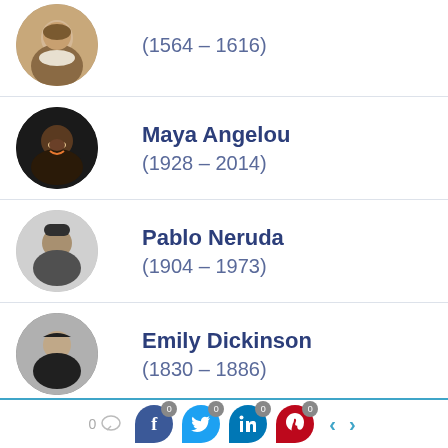(1564 – 1616)
Maya Angelou
(1928 – 2014)
Pablo Neruda
(1904 – 1973)
Emily Dickinson
(1830 – 1886)
Langston Hughes
(1901 – 1967)
0  [comment] [Facebook 0] [Twitter 0] [LinkedIn 0] [Pinterest 0] < >